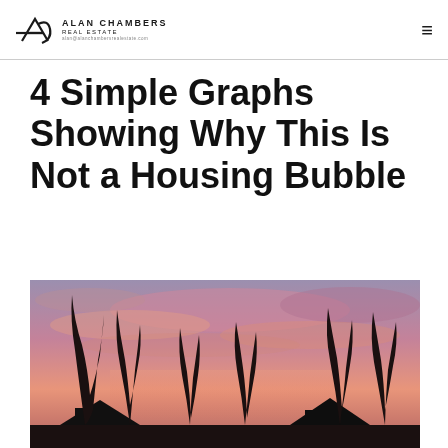AC Alan Chambers Real Estate
4 Simple Graphs Showing Why This Is Not a Housing Bubble
[Figure (photo): Twilight/sunset photograph showing silhouettes of bare winter trees and rooftops against a dramatic pink and purple sky with clouds]